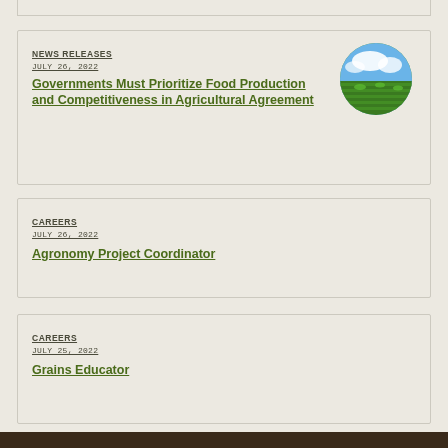NEWS RELEASES
JULY 26, 2022
Governments Must Prioritize Food Production and Competitiveness in Agricultural Agreement
[Figure (photo): Circular thumbnail photo of a green crop field under a blue sky with clouds]
CAREERS
JULY 26, 2022
Agronomy Project Coordinator
CAREERS
JULY 25, 2022
Grains Educator